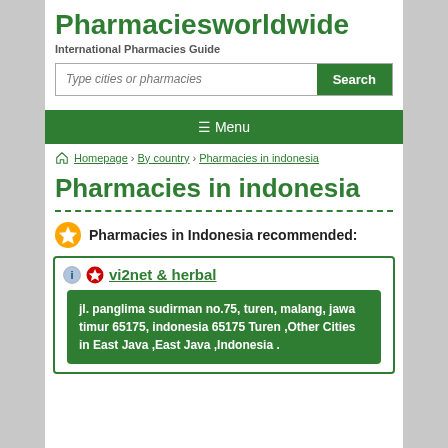Pharmaciesworldwide
International Pharmacies Guide
Type cities or pharmacies
Search
☰ Menu
Homepage › By country › Pharmacies in indonesia
Pharmacies in indonesia
Pharmacies in Indonesia recommended:
vi2net & herbal
jl. panglima sudirman no.75, turen, malang, jawa timur 65175, indonesia 65175 Turen ,Other Cities in East Java ,East Java ,Indonesia .